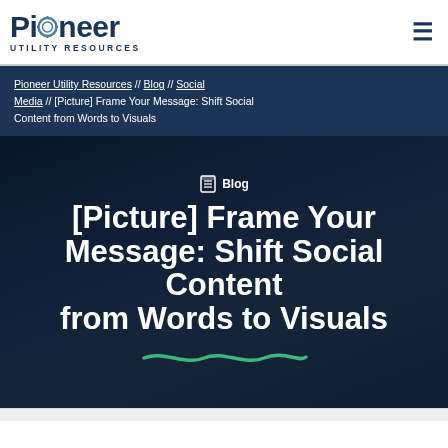Pioneer Utility Resources
Pioneer Utility Resources // Blog // Social Media // [Picture] Frame Your Message: Shift Social Content from Words to Visuals
[Picture] Frame Your Message: Shift Social Content from Words to Visuals